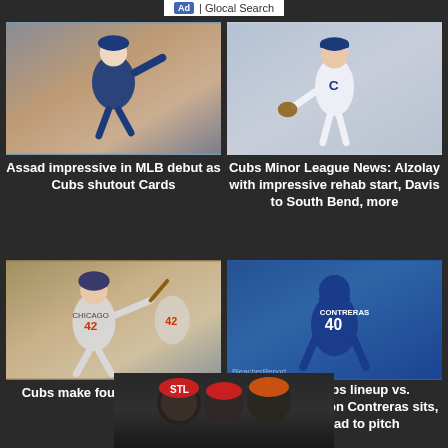Ad | Glocal Search
[Figure (photo): Baseball pitcher in Chicago Cubs blue uniform mid-windup on the mound]
Assad impressive in MLB debut as Cubs shutout Cards
[Figure (photo): Cubs player in pinstripe uniform fielding, stadium seats in background]
Cubs Minor League News: Alzolay with impressive rehab start, Davis to South Bend, more
[Figure (photo): Chicago Cubs player #42 running bases in gray uniform]
Cubs make four roster moves
[Figure (photo): Chicago Cubs player #40 Contreras from behind in blue uniform]
Chicago Cubs lineup vs. Cardinals: Willson Contreras sits, Javier Assad to pitch
[Figure (photo): Cardinals players celebrating in dark lighting]